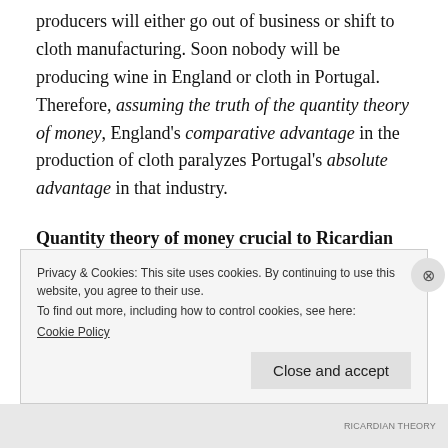producers will either go out of business or shift to cloth manufacturing. Soon nobody will be producing wine in England or cloth in Portugal. Therefore, assuming the truth of the quantity theory of money, England's comparative advantage in the production of cloth paralyzes Portugal's absolute advantage in that industry.
Quantity theory of money crucial to Ricardian comparative advantage
Privacy & Cookies: This site uses cookies. By continuing to use this website, you agree to their use.
To find out more, including how to control cookies, see here:
Cookie Policy